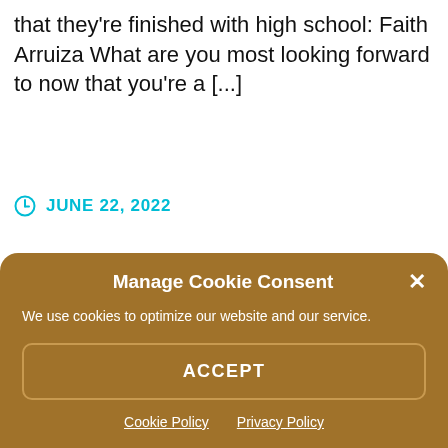that they're finished with high school: Faith Arruiza What are you most looking forward to now that you're a [...]
JUNE 22, 2022
JOSHUA SHON
UNCATEGORIZED
Manage Cookie Consent
We use cookies to optimize our website and our service.
ACCEPT
Cookie Policy  Privacy Policy